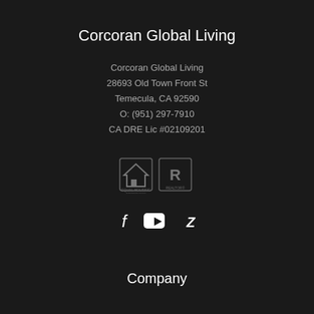Corcoran Global Living
Corcoran Global Living
28693 Old Town Front St
Temecula, CA 92590
O: (951) 297-7910
CA DRE Lic #02109201
[Figure (logo): Equal Housing Opportunity and REALTOR logos]
[Figure (illustration): Social media icons: Facebook, YouTube, Zillow]
Company
About
Popular Temecula Area Searches